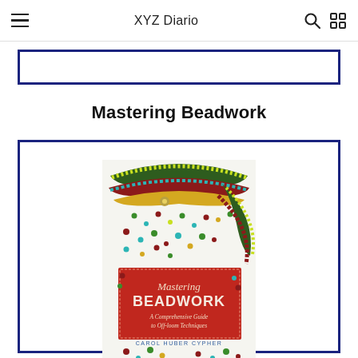XYZ Diario
Mastering Beadwork
[Figure (photo): Book cover of 'Mastering Beadwork: A Comprehensive Guide to Off-loom Techniques' by Carol Huber Cypher, showing colorful beaded jewelry with red, green, yellow, and turquoise beads on the cover, with a red banner and white/cream text.]